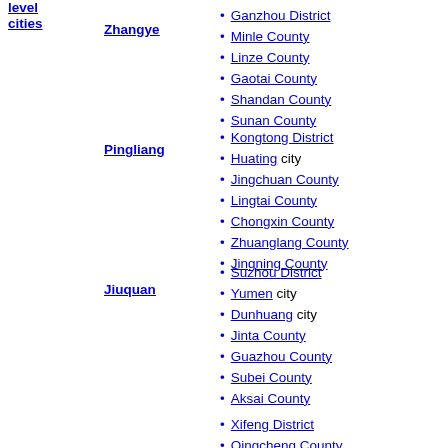level cities
Zhangye
Ganzhou District
Minle County
Linze County
Gaotai County
Shandan County
Sunan County
Pingliang
Kongtong District
Huating city
Jingchuan County
Lingtai County
Chongxin County
Zhuanglang County
Jingning County
Jiuquan
Suzhou District
Yumen city
Dunhuang city
Jinta County
Guazhou County
Subei County
Aksai County
Xifeng District
Qingcheng County